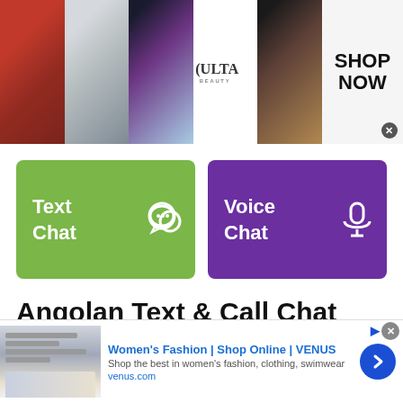[Figure (photo): Makeup advertisement banner showing lipstick, makeup brush, eye makeup, ULTA Beauty logo, eye close-up, and SHOP NOW call to action with close button]
[Figure (infographic): Two large colored buttons: green 'Text Chat' button with speech bubble icon, and purple 'Voice Chat' button with microphone icon]
Angolan Text & Call Chat Rooms
Angolan Chat Rooms is one of the most popular chat sites in Angola. This is a free
[Figure (screenshot): Bottom advertisement banner for Women's Fashion by VENUS. Shows thumbnail of fashion website, title 'Women's Fashion | Shop Online | VENUS', description 'Shop the best in women's fashion, clothing, swimwear', URL 'venus.com', and a blue circular arrow button. Has close X and info arrow icons.]